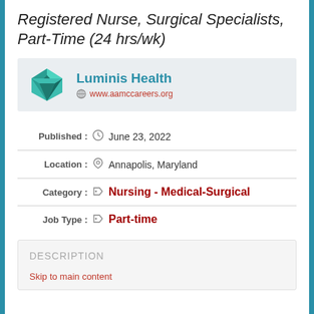Registered Nurse, Surgical Specialists, Part-Time (24 hrs/wk)
Luminis Health
www.aamccareers.org
Published : June 23, 2022
Location : Annapolis, Maryland
Category : Nursing - Medical-Surgical
Job Type : Part-time
DESCRIPTION
Skip to main content